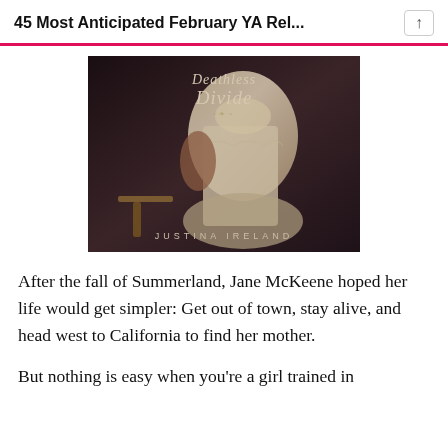45 Most Anticipated February YA Rel...
[Figure (photo): Book cover of 'Deathless Divide' by Justina Ireland. Dark moody cover with a figure in Victorian-style clothing. Title text in ornate script at the top, author name in spaced capitals at the bottom.]
After the fall of Summerland, Jane McKeene hoped her life would get simpler: Get out of town, stay alive, and head west to California to find her mother.
But nothing is easy when you're a girl trained in